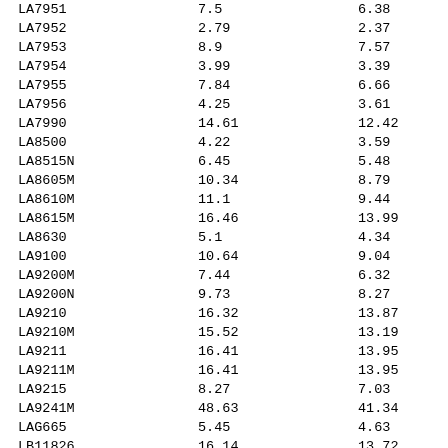| LA7951 | 7.5 | 6.38 |
| LA7952 | 2.79 | 2.37 |
| LA7953 | 8.9 | 7.57 |
| LA7954 | 3.99 | 3.39 |
| LA7955 | 7.84 | 6.66 |
| LA7956 | 4.25 | 3.61 |
| LA7990 | 14.61 | 12.42 |
| LA8500 | 4.22 | 3.59 |
| LA8515N | 6.45 | 5.48 |
| LA8605M | 10.34 | 8.79 |
| LA8610M | 11.1 | 9.44 |
| LA8615M | 16.46 | 13.99 |
| LA8630 | 5.1 | 4.34 |
| LA9100 | 10.64 | 9.04 |
| LA9200M | 7.44 | 6.32 |
| LA9200N | 9.73 | 8.27 |
| LA9210 | 16.32 | 13.87 |
| LA9210M | 15.52 | 13.19 |
| LA9211 | 16.41 | 13.95 |
| LA9211M | 16.41 | 13.95 |
| LA9215 | 8.27 | 7.03 |
| LA9241M | 48.63 | 41.34 |
| LAG665 | 5.45 | 4.63 |
| LB11826 | 16.14 | 13.72 |